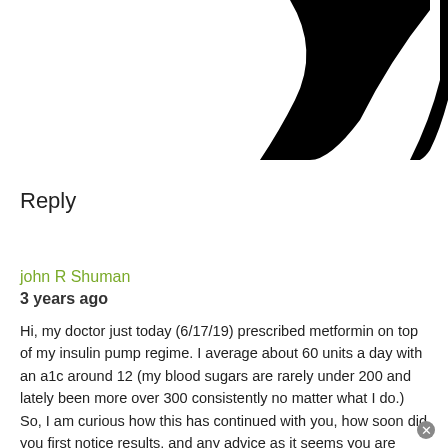[Figure (logo): Partial black logo or graphic at the top of the page, showing curved black shapes against white background]
Reply
john R Shuman
3 years ago
Hi, my doctor just today (6/17/19) prescribed metformin on top of my insulin pump regime. I average about 60 units a day with an a1c around 12 (my blood sugars are rarely under 200 and lately been more over 300 consistently no matter what I do.) So, I am curious how this has continued with you, how soon did you first notice results, and any advice as it seems you are similar to me with regards to your situation. please let me know.